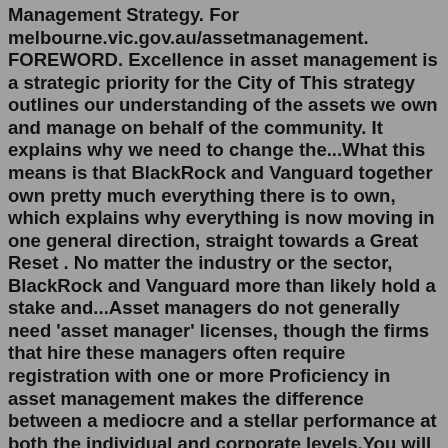Management Strategy. For melbourne.vic.gov.au/assetmanagement. FOREWORD. Excellence in asset management is a strategic priority for the City of This strategy outlines our understanding of the assets we own and manage on behalf of the community. It explains why we need to change the...What this means is that BlackRock and Vanguard together own pretty much everything there is to own, which explains why everything is now moving in one general direction, straight towards a Great Reset . No matter the industry or the sector, BlackRock and Vanguard more than likely hold a stake and...Asset managers do not generally need 'asset manager' licenses, though the firms that hire these managers often require registration with one or more Proficiency in asset management makes the difference between a mediocre and a stellar performance at both the individual and corporate levels.You will be leaving Acadian-Asset.com and headed to an external site. Acadian Asset Management is not responsible for the content